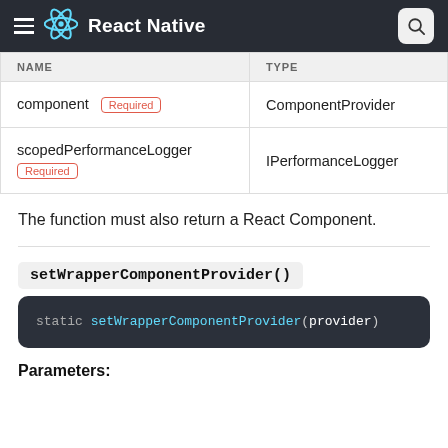React Native
| NAME | TYPE |
| --- | --- |
| component  Required | ComponentProvider |
| scopedPerformanceLogger  Required | IPerformanceLogger |
The function must also return a React Component.
setWrapperComponentProvider()
static setWrapperComponentProvider(provider)
Parameters: